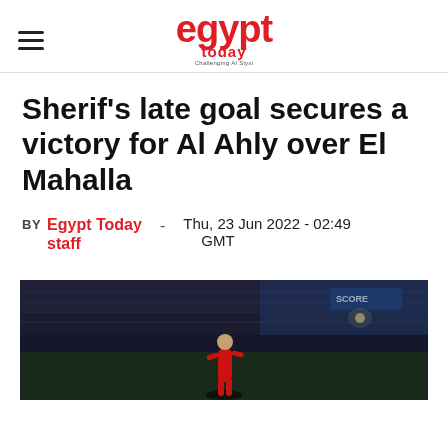egypt today
Sherif's late goal secures a victory for Al Ahly over El Mahalla
BY Egypt Today staff - Thu, 23 Jun 2022 - 02:49 GMT
[Figure (photo): Football player on pitch at night stadium, dark crowd in background, scoreboard visible top right, floodlight in background]